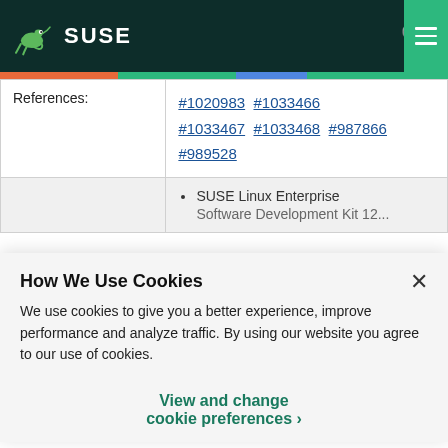SUSE
| References: | #1020983 #1033466 #1033467 #1033468 #987866 #989528 |
|  | • SUSE Linux Enterprise Software Development Kit 12... |
How We Use Cookies
We use cookies to give you a better experience, improve performance and analyze traffic. By using our website you agree to our use of cookies.
View and change cookie preferences >